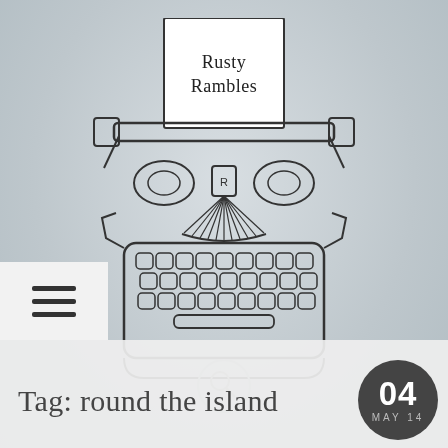[Figure (illustration): Line drawing illustration of a vintage typewriter with a paper sheet inserted showing the text 'Rusty Rambles'. The typewriter has detailed keys, spools, platen, and a space bar, drawn in black ink on a light grey textured background.]
[Figure (other): A search/magnifying glass icon inside a light grey circle, positioned below the typewriter illustration.]
[Figure (other): Hamburger menu icon (three horizontal lines) in a white/light rectangle at the bottom left.]
Tag: round the island
04 MAY 14